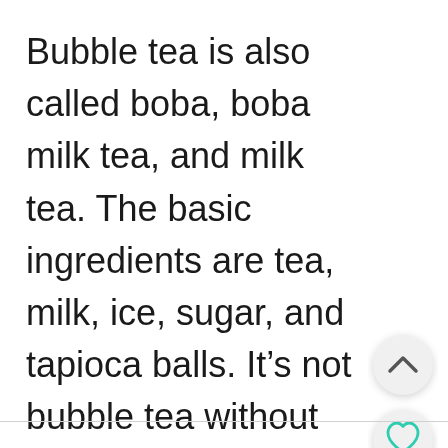Bubble tea is also called boba, boba milk tea, and milk tea. The basic ingredients are tea, milk, ice, sugar, and tapioca balls. It’s not bubble tea without the tapioca balls.
[Figure (other): Three circular UI buttons on the right side: an up-chevron button (light grey), a heart/favorite button (light grey), and a search button (teal/green)]